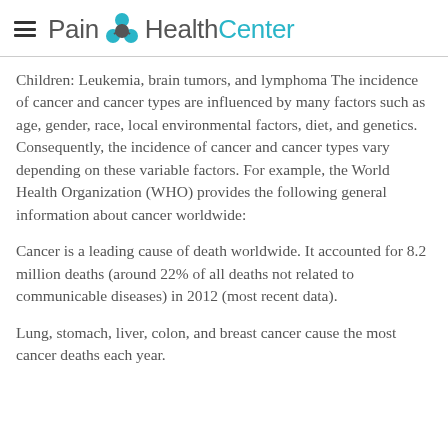Pain HealthCenter
Children: Leukemia, brain tumors, and lymphoma The incidence of cancer and cancer types are influenced by many factors such as age, gender, race, local environmental factors, diet, and genetics. Consequently, the incidence of cancer and cancer types vary depending on these variable factors. For example, the World Health Organization (WHO) provides the following general information about cancer worldwide:
Cancer is a leading cause of death worldwide. It accounted for 8.2 million deaths (around 22% of all deaths not related to communicable diseases) in 2012 (most recent data).
Lung, stomach, liver, colon, and breast cancer cause the most cancer deaths each year.